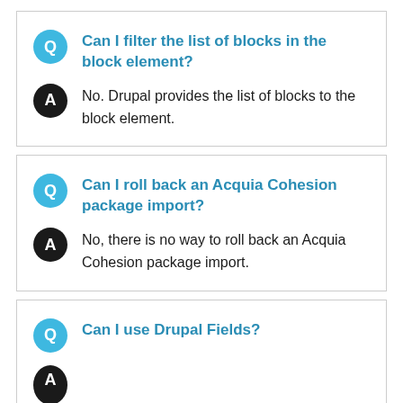Can I filter the list of blocks in the block element?
No. Drupal provides the list of blocks to the block element.
Can I roll back an Acquia Cohesion package import?
No, there is no way to roll back an Acquia Cohesion package import.
Can I use Drupal Fields?